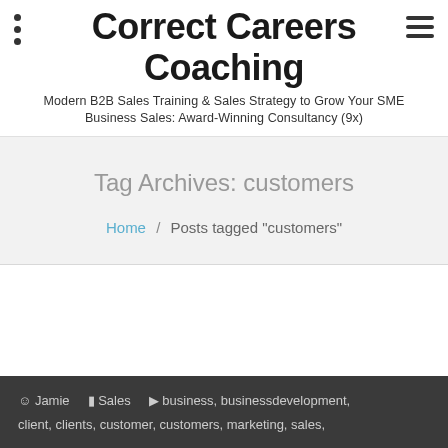Correct Careers Coaching
Modern B2B Sales Training & Sales Strategy to Grow Your SME Business Sales: Award-Winning Consultancy (9x)
Tag Archives: customers
Home / Posts tagged "customers"
Jamie  Sales  business, businessdevelopment, client, clients, customer, customers, marketing, sales,